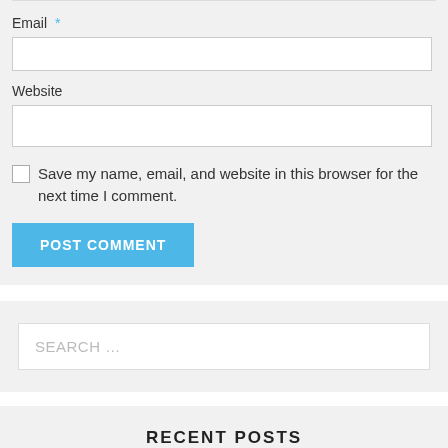Email *
Website
Save my name, email, and website in this browser for the next time I comment.
POST COMMENT
SEARCH ...
RECENT POSTS